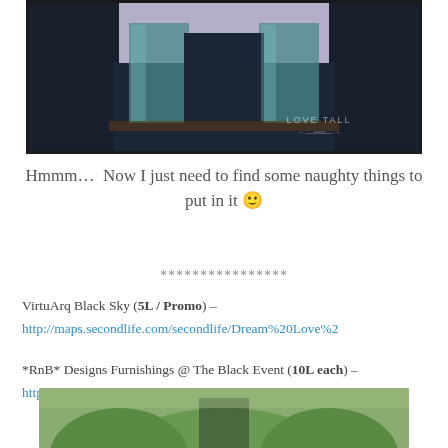[Figure (photo): A rendered 3D architectural image showing a modern building with dark panels and glass walls on a purple background. Watermark text 'LOVE TALL' with decorative arrow at bottom right.]
Hmmm…  Now I just need to find some naughty things to put in it 🙂
****************
VirtuArq Black Sky (5L / Promo) – http://maps.secondlife.com/secondlife/Dream%20Love%2
*RnB* Designs Furnishings @ The Black Event (10L each) – http://maps.secondlife.com/secondlife/The%20Wash/209/
[Figure (photo): Partial bottom image showing a green outdoor scene, cropped at bottom of page.]